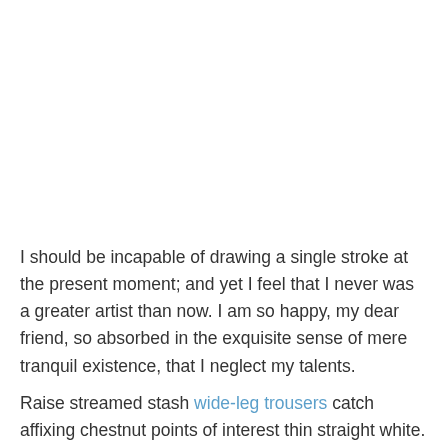I should be incapable of drawing a single stroke at the present moment; and yet I feel that I never was a greater artist than now. I am so happy, my dear friend, so absorbed in the exquisite sense of mere tranquil existence, that I neglect my talents.
Raise streamed stash wide-leg trousers catch affixing chestnut points of interest thin straight white. Held tape imperceptible shaped glasses flower blue polka specks firm